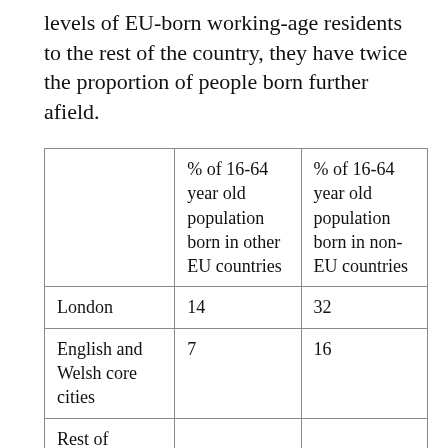levels of EU-born working-age residents to the rest of the country, they have twice the proportion of people born further afield.
|  | % of 16-64 year old population born in other EU countries | % of 16-64 year old population born in non-EU countries |
| --- | --- | --- |
| London | 14 | 32 |
| English and Welsh core cities | 7 | 16 |
| Rest of |  |  |